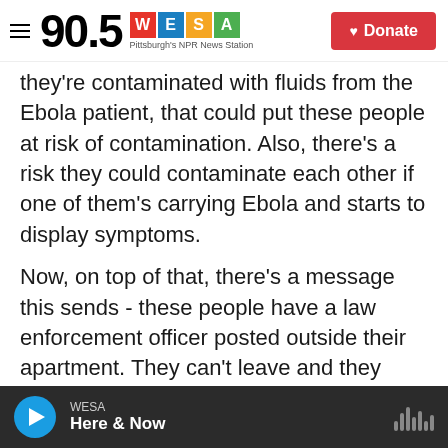90.5 WESA - Pittsburgh's NPR News Station | Donate
they're contaminated with fluids from the Ebola patient, that could put these people at risk of contamination. Also, there's a risk they could contaminate each other if one of them's carrying Ebola and starts to display symptoms.
Now, on top of that, there's a message this sends - these people have a law enforcement officer posted outside their apartment. They can't leave and they can't have visitors. Other potential contacts may see that and say, I don't want that to happen to me and they may avoid public health officials. That could make people less likely to
WESA | Here & Now